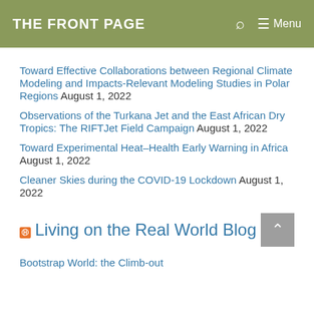THE FRONT PAGE   🔍   ≡ Menu
Toward Effective Collaborations between Regional Climate Modeling and Impacts-Relevant Modeling Studies in Polar Regions August 1, 2022
Observations of the Turkana Jet and the East African Dry Tropics: The RIFTJet Field Campaign August 1, 2022
Toward Experimental Heat–Health Early Warning in Africa August 1, 2022
Cleaner Skies during the COVID-19 Lockdown August 1, 2022
Living on the Real World Blog
Bootstrap World: the Climb-out